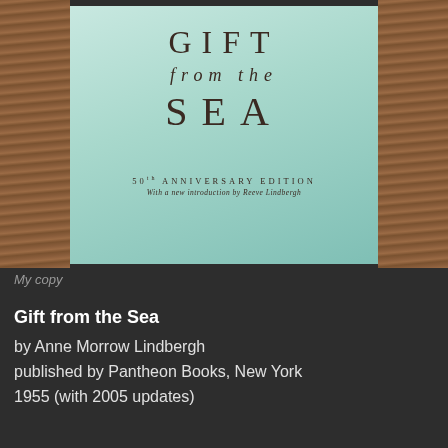[Figure (photo): A photo of the book cover 'Gift from the Sea' – 50th Anniversary Edition, with a new introduction by Reeve Lindbergh. The cover is a pale mint/teal gradient color with dark brown serif typography. The book rests on a wooden surface.]
My copy
Gift from the Sea
by Anne Morrow Lindbergh
published by Pantheon Books, New York
1955 (with 2005 updates)